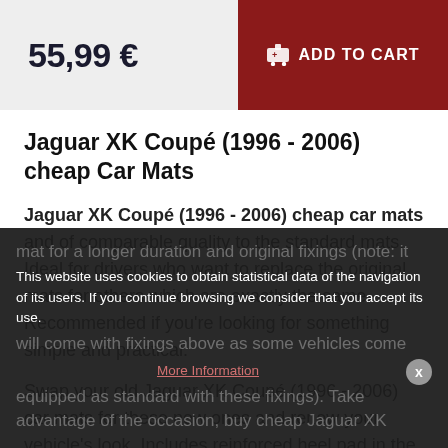55,99 €
ADD TO CART
Jaguar XK Coupé (1996 - 2006) cheap Car Mats
Jaguar XK Coupé (1996 - 2006) cheap car mats and of comparable quality to the standard mats. Ideal for drivers who want to replace the original mats for others which are exactly the same. Recommended if you're looking for something simple and practical.
Swap your old Jaguar XK Coupé (1996 - 2006) car mats for these new ones and renew your vehicle's look. Includes reinforced heel pad in the driver's car mat for a longer duration and original fixings (note: it will come with fixings above as some vehicles come equipped as standard with these fixings). Take advantage of the occasion, buy cheap Jaguar XK
This website uses cookies to obtain statistical data of the navigation of its users. If you continue browsing we consider that you accept its use. More Information ×